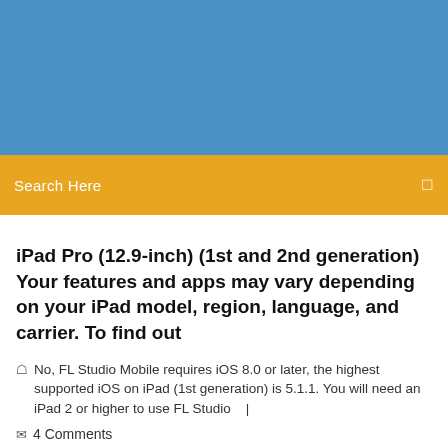[Figure (other): Blue header banner background]
Search Here
iPad Pro (12.9-inch) (1st and 2nd generation) Your features and apps may vary depending on your iPad model, region, language, and carrier. To find out
No, FL Studio Mobile requires iOS 8.0 or later, the highest supported iOS on iPad (1st generation) is 5.1.1. You will need an iPad 2 or higher to use FL Studio   |
4 Comments